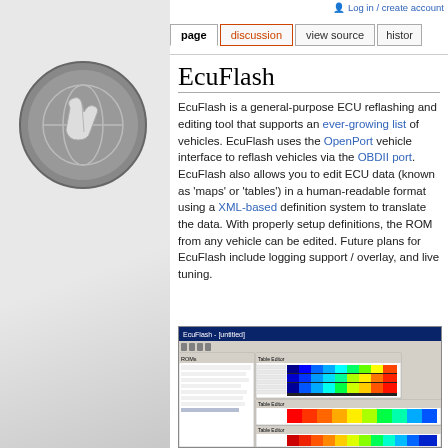Log in / create account
page | discussion | view source | histor
EcuFlash
EcuFlash is a general-purpose ECU reflashing and editing tool that supports an ever-growing list of vehicles. EcuFlash uses the OpenPort vehicle interface to reflash vehicles via the OBDII port. EcuFlash also allows you to edit ECU data (known as 'maps' or 'tables') in a human-readable format using a XML-based definition system to translate the data. With properly setup definitions, the ROM from any vehicle can be edited. Future plans for EcuFlash include logging support / overlay, and live tuning.
[Figure (screenshot): Screenshot of EcuFlash software showing ECU map tables with color-coded heat maps in red, yellow, and green gradients.]